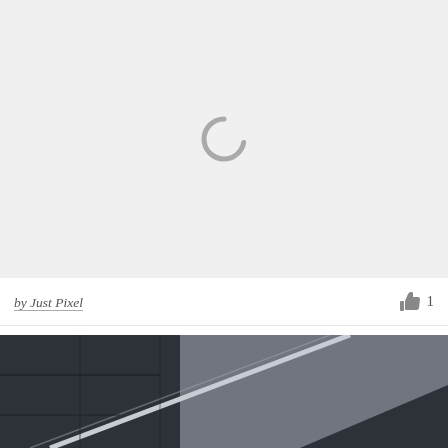[Figure (other): Loading placeholder with spinner icon on light gray background]
by Just Pixel
[Figure (photo): Black and white architectural photograph showing diagonal lines of a building facade against a gray sky]